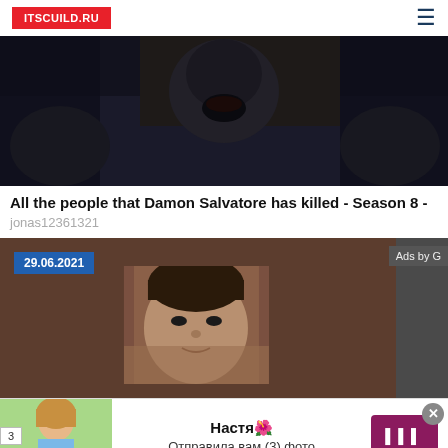ITSCUILD.RU
[Figure (photo): Dark screenshot showing a person with mouth open, dark horror-style scene]
All the people that Damon Salvatore has killed - Season 8 -
jonas12361321
[Figure (screenshot): Brown content card with date badge 29.06.2021, an Ads by label, and embedded thumbnail image of a man's face]
[Figure (photo): Advertisement banner: Настя🌺 Отправила вам (3) фото with woman photo on left and button on right]